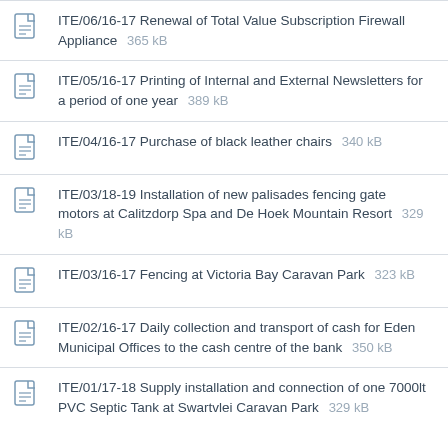ITE/06/16-17 Renewal of Total Value Subscription Firewall Appliance 365 kB
ITE/05/16-17 Printing of Internal and External Newsletters for a period of one year 389 kB
ITE/04/16-17 Purchase of black leather chairs 340 kB
ITE/03/18-19 Installation of new palisades fencing gate motors at Calitzdorp Spa and De Hoek Mountain Resort 329 kB
ITE/03/16-17 Fencing at Victoria Bay Caravan Park 323 kB
ITE/02/16-17 Daily collection and transport of cash for Eden Municipal Offices to the cash centre of the bank 350 kB
ITE/01/17-18 Supply installation and connection of one 7000lt PVC Septic Tank at Swartvlei Caravan Park 329 kB